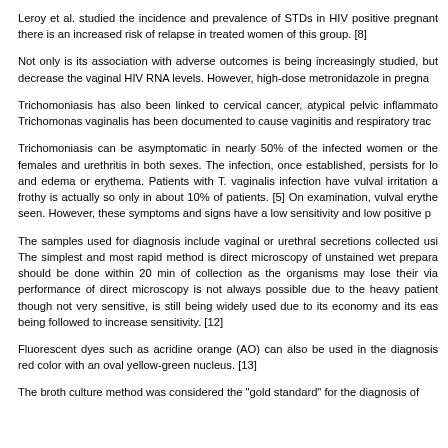Leroy et al. studied the incidence and prevalence of STDs in HIV positive pregnant there is an increased risk of relapse in treated women of this group. [8]
Not only is its association with adverse outcomes is being increasingly studied, but decrease the vaginal HIV RNA levels. However, high-dose metronidazole in pregna
Trichomoniasis has also been linked to cervical cancer, atypical pelvic inflammato Trichomonas vaginalis has been documented to cause vaginitis and respiratory trac
Trichomoniasis can be asymptomatic in nearly 50% of the infected women or the females and urethritis in both sexes. The infection, once established, persists for lo and edema or erythema. Patients with T. vaginalis infection have vulval irritation a frothy is actually so only in about 10% of patients. [5] On examination, vulval erythe seen. However, these symptoms and signs have a low sensitivity and low positive p
The samples used for diagnosis include vaginal or urethral secretions collected usi The simplest and most rapid method is direct microscopy of unstained wet prepara should be done within 20 min of collection as the organisms may lose their via performance of direct microscopy is not always possible due to the heavy patient though not very sensitive, is still being widely used due to its economy and its eas being followed to increase sensitivity. [12]
Fluorescent dyes such as acridine orange (AO) can also be used in the diagnosis red color with an oval yellow-green nucleus. [13]
The broth culture method was considered the "gold standard" for the diagnosis of